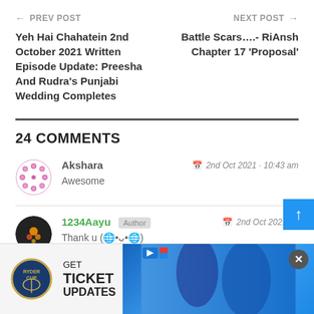← PREV POST | Yeh Hai Chahatein 2nd October 2021 Written Episode Update: Preesha And Rudra's Punjabi Wedding Completes
NEXT POST → | Battle Scars….- RiAnsh Chapter 17 'Proposal'
24 COMMENTS
Akshara | 2nd Oct 2021 · 10:43 am | Awesome
1234Aayu Author | 2nd Oct 2021 · ... | Thank u (emoji)
[Figure (infographic): GET TICKET UPDATES - Ryder Cup advertisement banner with logo and sports photo]